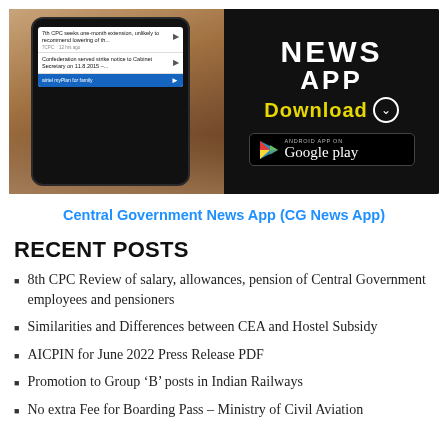[Figure (screenshot): Banner advertisement for Central Government News App showing a hand holding a smartphone with news headlines, and Google Play download button on dark background with 'NEWS APP Download' text in white and yellow.]
Central Government News App (CG News App)
RECENT POSTS
8th CPC Review of salary, allowances, pension of Central Government employees and pensioners
Similarities and Differences between CEA and Hostel Subsidy
AICPIN for June 2022 Press Release PDF
Promotion to Group ‘B’ posts in Indian Railways
No extra Fee for Boarding Pass – Ministry of Civil Aviation